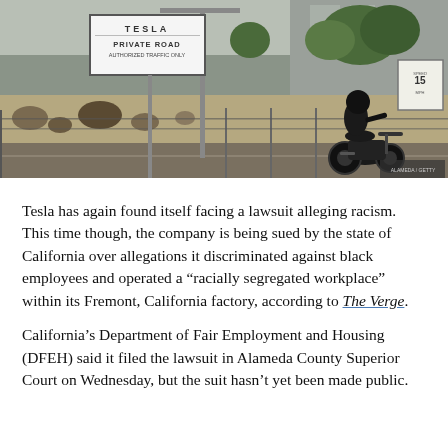[Figure (photo): A motorcyclist in dark riding gear on a black motorcycle near a Tesla 'Private Road – Authorized Traffic Only' sign outside a facility. Landscaping with rocks and shrubs visible in background, along with a grey building.]
Tesla has again found itself facing a lawsuit alleging racism. This time though, the company is being sued by the state of California over allegations it discriminated against black employees and operated a “racially segregated workplace” within its Fremont, California factory, according to The Verge.
California’s Department of Fair Employment and Housing (DFEH) said it filed the lawsuit in Alameda County Superior Court on Wednesday, but the suit hasn’t yet been made public.